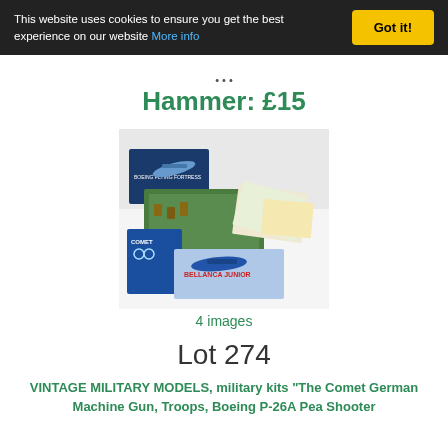This website uses cookies to ensure you get the best experience on our website More info  Got it!
Hammer: £15
[Figure (photo): Photo of vintage military model kits spread on a table, including The Comet, Boeing P-26A Pea Shooter box, Bellanca Junior box, and various model instruction sheets/box art]
4 images
Lot 274
VINTAGE MILITARY MODELS, military kits "The Comet German Machine Gun, Troops, Boeing P-26A Pea Shooter